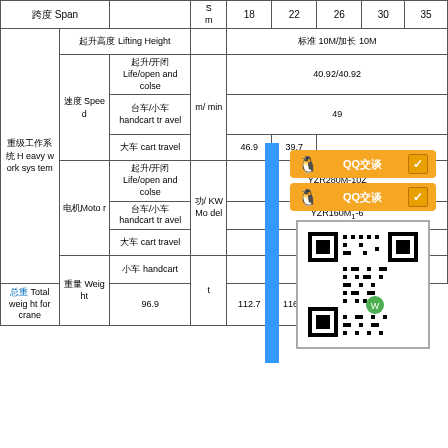|  |  |  | S m | 18 | 22 | 26 | 30 | 35 |
| --- | --- | --- | --- | --- | --- | --- | --- | --- |
| 跨度 Span |  |  | m | 18 | 22 | 26 | 30 | 35 |
|  | 起升高度 Lifting Height |  |  | 标准 10M/加长 10M |
| 重级工作系统 Heavy work system | 速度 Speed | 起升/开闭 Life/open and colse | m/min | 40.92/40.92 |
|  |  | 台车/小车 handcart travel |  | 49 |
|  |  | 大车 cart travel |  | 46.9 | 39.7 |
|  | 电机Motor | 起升/开闭 Life/open and colse | 功/KW Motor Model | YZR280M-10Z |
|  |  | 台车/小车 handcart travel |  | YZR160M₁-6 |
|  |  | 大车 cart travel |  | YZR160L-6 |
|  | 重量 Weight | 小车 handcart |  | 17.7 |
|  |  | 起重机总重 Total weight for crane | t | 96.9 | 112.7 | 116.5 | 131.7 | 137.5 |
[Figure (other): QQ chat buttons and QR code overlay on the table]